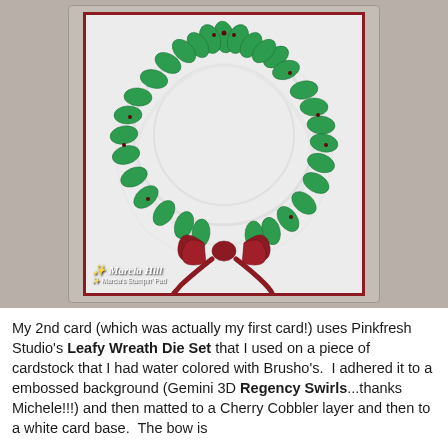[Figure (photo): A handmade Christmas card featuring a green leafy wreath die cut with red berries and a red bow at the bottom, placed on an embossed white background with red matting, photographed on a wood surface. Watermark reads 'Marcia Hill' and 'Marcia's Stampin' Pad'.]
My 2nd card (which was actually my first card!) uses Pinkfresh Studio's Leafy Wreath Die Set that I used on a piece of cardstock that I had water colored with Brusho's.  I adhered it to a embossed background (Gemini 3D Regency Swirls...thanks Michele!!!) and then matted to a Cherry Cobbler layer and then to a white card base.  The bow is